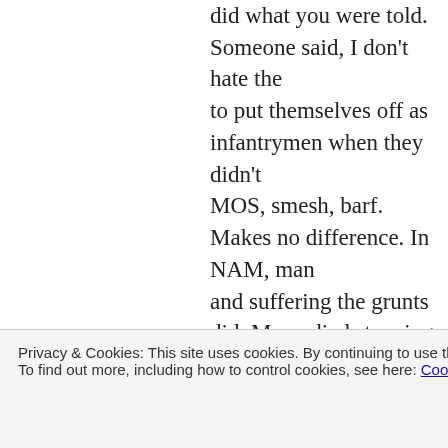did what you were told. Someone said, I don't hate the to put themselves off as infantrymen when they didn't MOS, smesh, barf. Makes no difference. In NAM, man and suffering the grunts did. Many died stepping into b even worse than IED's because many of the booby trap writhe in pain for days before you died. It's exactly the Corps. We're grunts. We deserve all the respect. I wond ONLY grunt MOS's were sent into war and no support how long you would survive. Like I said, if I had been have lived with it and would have performed my duties because that's what Marines do. I thought I wouldn't h deep down I thought, whew!, I'm not going to get wou again. Wounded twice while out in the boonies with the were short handed, guess who they came to get to mak
Privacy & Cookies: This site uses cookies. By continuing to use this website, you agree to their use.
To find out more, including how to control cookies, see here: Cookie Policy
Close and accept